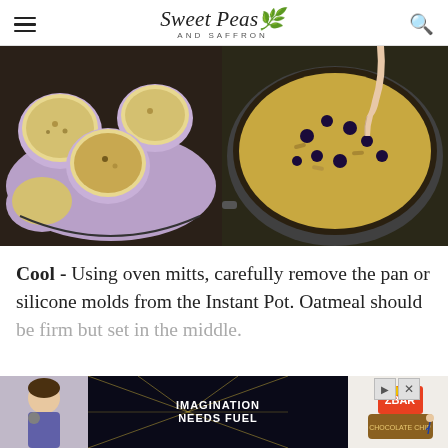Sweet Peas AND SAFFRON
[Figure (photo): Two food photos side by side: left shows baked oatmeal cups in a purple silicone mold tray on a dark surface; right shows a hand pressing into baked oatmeal with blueberries in a dark round pan.]
Cool - Using oven mitts, carefully remove the pan or silicone molds from the Instant Pot. Oatmeal should be firm but set in the middle.
[Figure (photo): Advertisement banner showing a child, dark background with rays and text IMAGINATION NEEDS FUEL, and a ZBAR chocolate chip snack bar product image.]